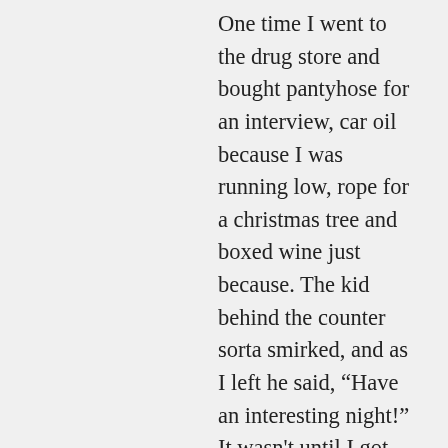One time I went to the drug store and bought pantyhose for an interview, car oil because I was running low, rope for a christmas tree and boxed wine just because. The kid behind the counter sorta smirked, and as I left he said, “Have an interesting night!” It wasn't until I got home that I realized he probably thought I was a hooker/party girl/sad cat lady with a BDSM fetish.
Reply
michellestodden on 11/01/2013 at 8:50 am
THAT is hilarious.